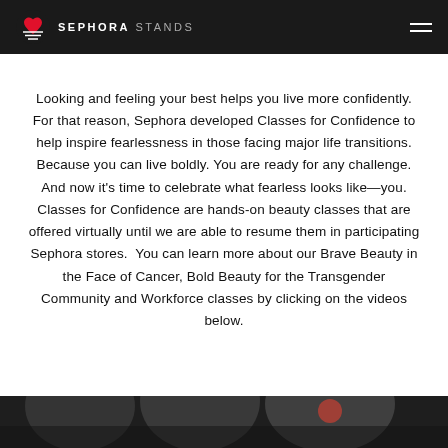SEPHORA STANDS
Looking and feeling your best helps you live more confidently. For that reason, Sephora developed Classes for Confidence to help inspire fearlessness in those facing major life transitions. Because you can live boldly. You are ready for any challenge. And now it's time to celebrate what fearless looks like—you. Classes for Confidence are hands-on beauty classes that are offered virtually until we are able to resume them in participating Sephora stores.  You can learn more about our Brave Beauty in the Face of Cancer, Bold Beauty for the Transgender Community and Workforce classes by clicking on the videos below.
[Figure (photo): Partial view of people at the bottom of the page, dark toned image]